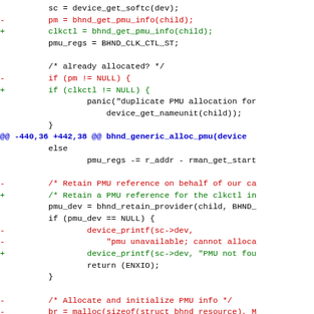[Figure (other): Code diff showing changes to bhnd driver source code, with removed lines in red, added lines in green, and hunk headers in blue]